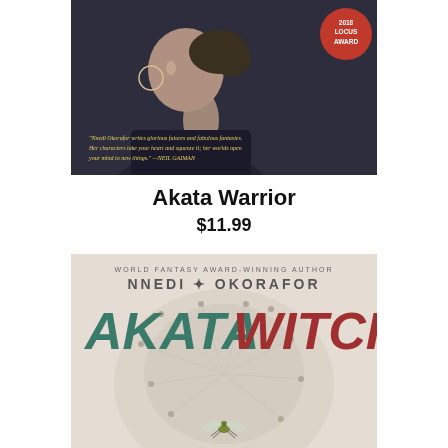[Figure (photo): Book cover of Akata Warrior showing a side profile of a young woman with braided hair pulled back, wearing a dark top. A circular red badge in the top right reads '2018 Locus Award'. Yellow italic text at the bottom contains a quote from Neil Gaiman: 'Nnedi Okorafor writes glorious futures and fabulous fantasies. Her characters take your heart and squeeze it; her worlds open your mind to new things.']
Akata Warrior
$11.99
[Figure (photo): Book cover of Akata Witch by Nnedi Okorafor. Text at top reads 'World Fantasy Award-Winning Author'. Below in large letters: 'NNEDI OKORAFOR'. Large title text: 'AKATA' in teal/green and 'WITCH' in red/burgundy. Background shows a dandelion or similar plant in muted tones with a fly or insect in the center lower portion.]